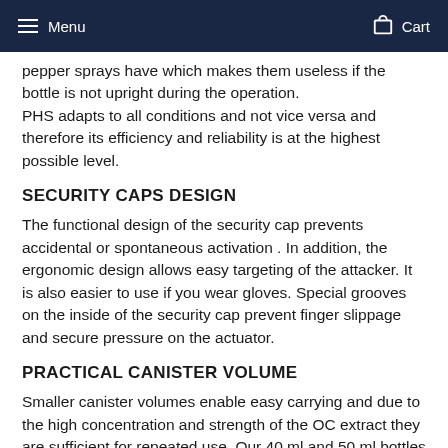Menu   Cart
pepper sprays have which makes them useless if the bottle is not upright during the operation.
PHS adapts to all conditions and not vice versa and therefore its efficiency and reliability is at the highest possible level.
SECURITY CAPS DESIGN
The functional design of the security cap prevents accidental or spontaneous activation . In addition, the ergonomic design allows easy targeting of the attacker. It is also easier to use if you wear gloves. Special grooves on the inside of the security cap prevent finger slippage and secure pressure on the actuator.
PRACTICAL CANISTER VOLUME
Smaller canister volumes enable easy carrying and due to the high concentration and strength of the OC extract they are sufficient for repeated use. Our 40 ml and 50 ml bottles are ideal for personal use. The smaller bottle (40ml) contains an amount that is sufficient for an extremely hot jet for a minimum of 5 seconds of continuous use.